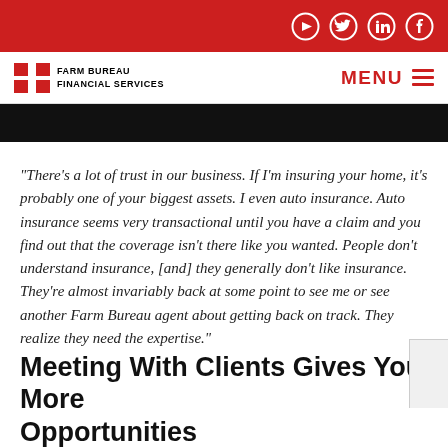Farm Bureau Financial Services — social icons (YouTube, Twitter, LinkedIn, Facebook)
[Figure (logo): Farm Bureau Financial Services logo with FB icon and text, plus MENU hamburger navigation]
[Figure (photo): Dark image strip, partial view of a photo]
“There’s a lot of trust in our business. If I’m insuring your home, it’s probably one of your biggest assets. I even auto insurance. Auto insurance seems very transactional until you have a claim and you find out that the coverage isn’t there like you wanted. People don’t understand insurance, [and] they generally don’t like insurance. They’re almost invariably back at some point to see me or see another Farm Bureau agent about getting back on track. They realize they need the expertise.”
Meeting With Clients Gives You More Opportunities